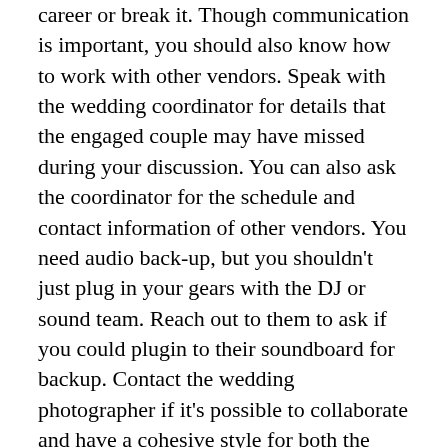career or break it. Though communication is important, you should also know how to work with other vendors. Speak with the wedding coordinator for details that the engaged couple may have missed during your discussion. You can also ask the coordinator for the schedule and contact information of other vendors. You need audio back-up, but you shouldn't just plug in your gears with the DJ or sound team. Reach out to them to ask if you could plugin to their soundboard for backup. Contact the wedding photographer if it's possible to collaborate and have a cohesive style for both the photos and videos. Your ability to work well with other vendors can bring you referrals in the future.
Attention to Details
How may cameras do you need? Do you need to use a drone? To whom should you put a mic during the ceremony? What time is the ceremony and reception? Will you need gears for lowlighting issues? Do you have backup recorders or audio gears? Did you capture enough B-roll?These are just some of the details you need to know when preparing for a video